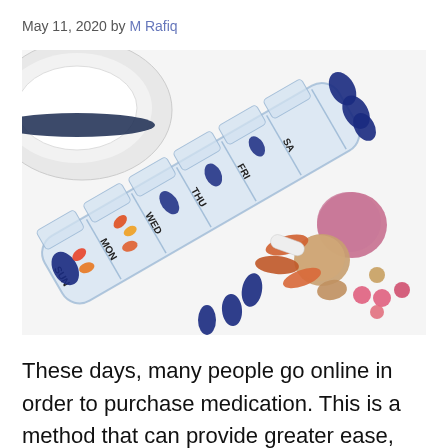May 11, 2020 by M Rafiq
[Figure (photo): A weekly pill organizer with compartments labeled SUN, MON, WED, THU, FRI, SA, with various colorful pills and tablets scattered next to it on a white background, with a white appliance partially visible in the upper left.]
These days, many people go online in order to purchase medication. This is a method that can provide greater ease, convenience, and